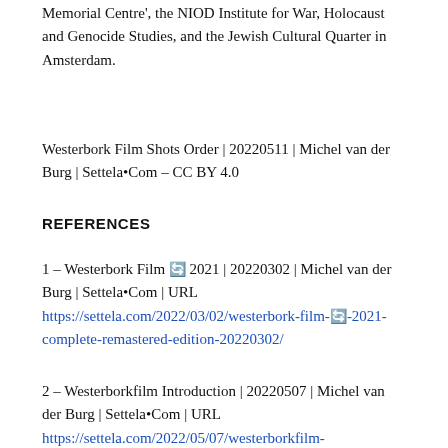Memorial Centre', the NIOD Institute for War, Holocaust and Genocide Studies, and the Jewish Cultural Quarter in Amsterdam.
Westerbork Film Shots Order | 20220511 | Michel van der Burg | Settela•Com – CC BY 4.0
REFERENCES
1 – Westerbork Film 🔄 2021 | 20220302 | Michel van der Burg | Settela•Com | URL https://settela.com/2022/03/02/westerbork-film-🔄-2021-complete-remastered-edition-20220302/
2 – Westerborkfilm Introduction | 20220507 | Michel van der Burg | Settela•Com | URL https://settela.com/2022/05/07/westerborkfilm-